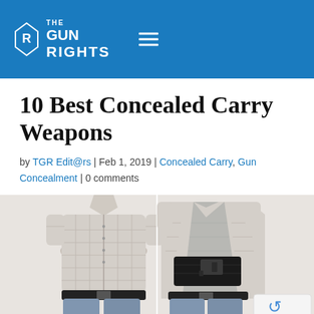THE GUN RIGHTS
10 Best Concealed Carry Weapons
by TGR Edit@rs | Feb 1, 2019 | Concealed Carry, Gun Concealment | 0 comments
[Figure (photo): Two side-by-side photos of a man demonstrating concealed carry: left shows shirt buttoned over belly band holster, right shows shirt open revealing the holster with a handgun tucked inside]